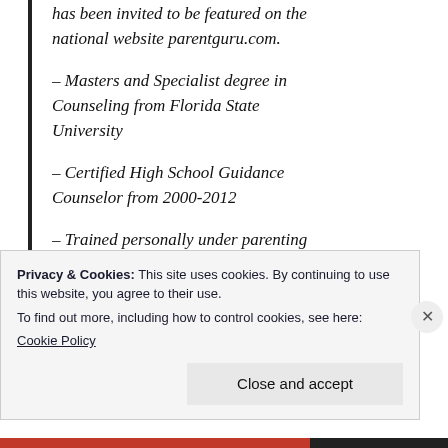has been invited to be featured on the national website parentguru.com.
– Masters and Specialist degree in Counseling from Florida State University
– Certified High School Guidance Counselor from 2000-2012
– Trained personally under parenting
Privacy & Cookies: This site uses cookies. By continuing to use this website, you agree to their use. To find out more, including how to control cookies, see here: Cookie Policy
Close and accept